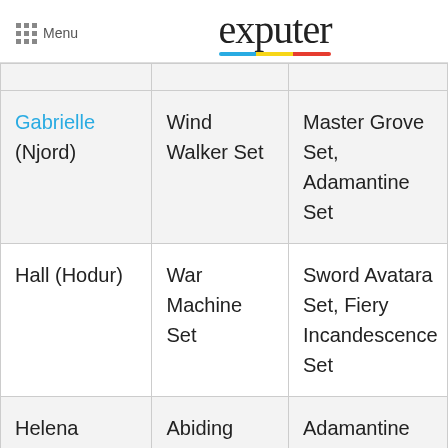Menu | exputer
| Character | Best Set | Alternative Sets |
| --- | --- | --- |
| Gabrielle (Njord) | Wind Walker Set | Master Grove Set, Adamantine Set |
| Hall (Hodur) | War Machine Set | Sword Avatara Set, Fiery Incandescence Set |
| Helena | Abiding | Adamantine Set, Master... |